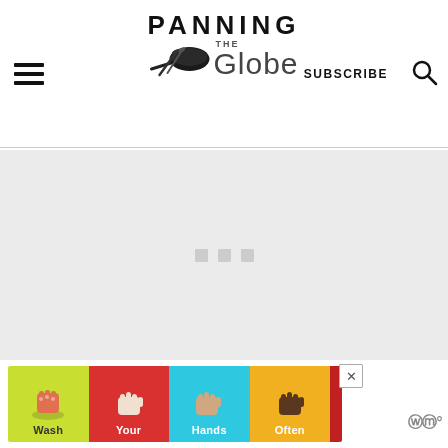PANNING THE Globe — SUBSCRIBE
[Figure (illustration): Loading spinner / placeholder area with three small gray squares on a light gray background]
[Figure (illustration): Wash Your Hands Often advertisement banner with colorful hand-washing icons in yellow, red, cyan, orange, and dark-red sections]